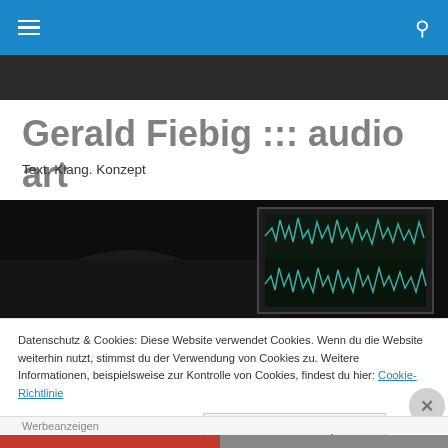Gerald Fiebig ::: audio art — navigation bar with hamburger menu and search icon
Gerald Fiebig ::: audio art
Text. Klang. Konzept
[Figure (photo): Dark photo of a person in silhouette with a laptop screen showing audio waveforms (green waveform tracks on dark background)]
Datenschutz & Cookies: Diese Website verwendet Cookies. Wenn du die Website weiterhin nutzt, stimmst du der Verwendung von Cookies zu. Weitere Informationen, beispielsweise zur Kontrolle von Cookies, findest du hier: Cookie-Richtlinie
Schließen und Akzeptieren
Werbeanzeigen